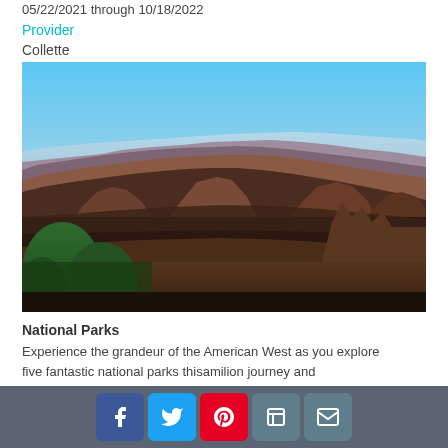05/22/2021 through 10/18/2022
Provider
Collette
[Figure (photo): Grand Canyon panoramic landscape view showing layered red and brown canyon walls, rocky formations, deep gorges, green trees in the foreground, and a clear blue sky in the background.]
National Parks
Experience the grandeur of the American West as you explore five fantastic national parks thisamilion journey and